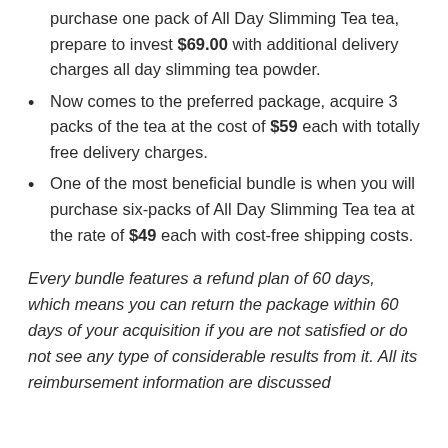purchase one pack of All Day Slimming Tea tea, prepare to invest $69.00 with additional delivery charges all day slimming tea powder.
Now comes to the preferred package, acquire 3 packs of the tea at the cost of $59 each with totally free delivery charges.
One of the most beneficial bundle is when you will purchase six-packs of All Day Slimming Tea tea at the rate of $49 each with cost-free shipping costs.
Every bundle features a refund plan of 60 days, which means you can return the package within 60 days of your acquisition if you are not satisfied or do not see any type of considerable results from it. All its reimbursement information are discussed